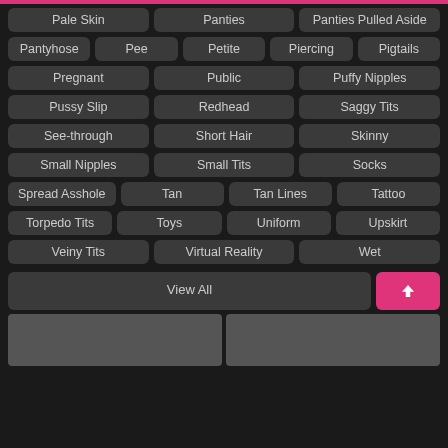Pale Skin
Panties
Panties Pulled Aside
Pantyhose
Pee
Petite
Piercing
Pigtails
Pregnant
Public
Puffy Nipples
Pussy Slip
Redhead
Saggy Tits
See-through
Short Hair
Skinny
Small Nipples
Small Tits
Socks
Spread Asshole
Tan
Tan Lines
Tattoo
Torpedo Tits
Toys
Uniform
Upskirt
Veiny Tits
Virtual Reality
Wet
View All
[Figure (photo): Two thumbnail images at the bottom of the page]